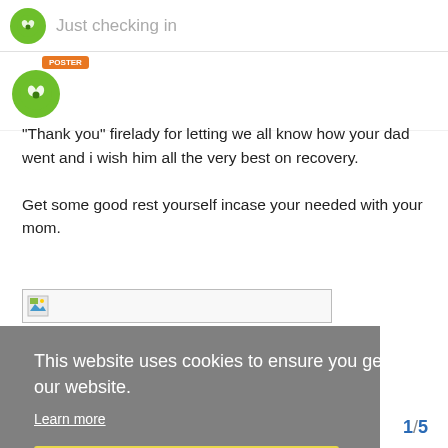Just checking in
[Figure (screenshot): User avatar circle with butterfly/flower icon in green]
"Thank you" firelady for letting we all know how your dad went and i wish him all the very best on recovery.

Get some good rest yourself incase your needed with your mom.
[Figure (photo): Broken/placeholder image thumbnail in a bordered box]
This website uses cookies to ensure you get the best experience on our website.
Learn more
Got it!
1 / 5